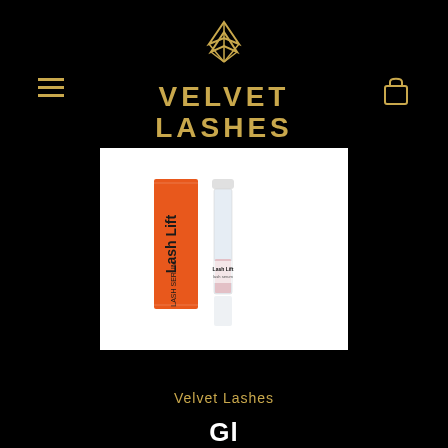[Figure (logo): Velvet Lashes by Daria logo - gold geometric chevron/arrow symbol above brand name]
[Figure (photo): Lash Lift mascara/serum product - orange box and clear glass tube with white cap on white background]
Velvet Lashes
Gl